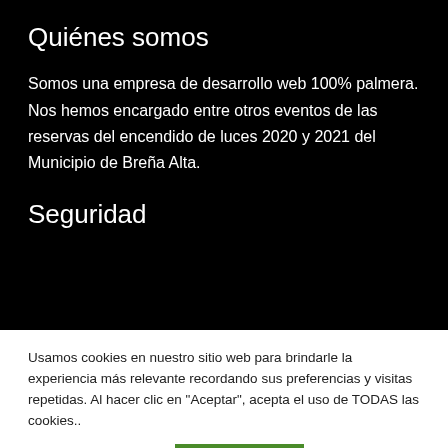Quiénes somos
Somos una empresa de desarrollo web 100% palmera. Nos hemos encargado entre otros eventos de las reservas del encendido de luces 2020 y 2021 del Municipio de Breña Alta.
Seguridad
Usamos cookies en nuestro sitio web para brindarle la experiencia más relevante recordando sus preferencias y visitas repetidas. Al hacer clic en "Aceptar", acepta el uso de TODAS las cookies..
AJUSTES COOKIES | ACEPTAR